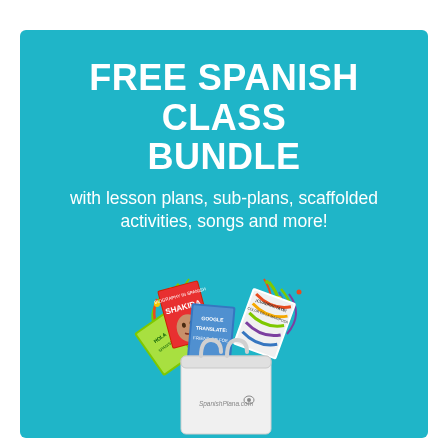FREE SPANISH CLASS BUNDLE
with lesson plans, sub-plans, scaffolded activities, songs and more!
[Figure (illustration): A white gift bag with colorful books and materials spilling out, including references to Shakira biography, Google Translate Friend or Foe, and other Spanish class resources, surrounded by colorful confetti streamers. The bag has a logo reading SpanishPlana.com]
Great for teachers and learners of all levels.